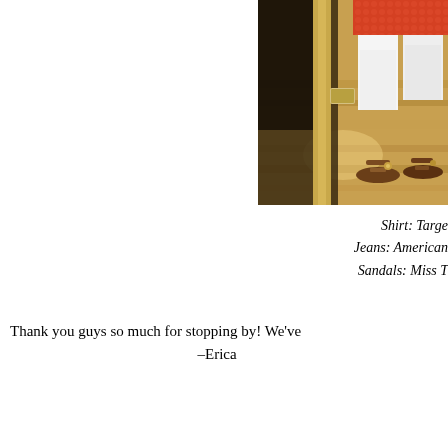[Figure (photo): Mirror selfie showing a person wearing a red/orange shirt, white jeans, and brown sandals, standing on hardwood floors]
Shirt:  Targe
Jeans:  American
Sandals:  Miss T
Thank you guys so much for stopping by!  We've
-Erica